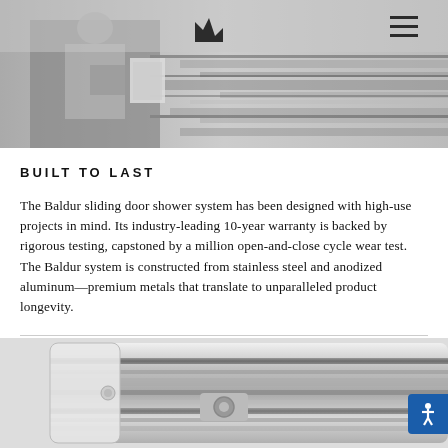Crown/logo icon and hamburger menu
[Figure (photo): Black and white photo of a person holding a clipboard inspecting industrial machinery or a production line with motion blur]
BUILT TO LAST
The Baldur sliding door shower system has been designed with high-use projects in mind. Its industry-leading 10-year warranty is backed by rigorous testing, capstoned by a million open-and-close cycle wear test. The Baldur system is constructed from stainless steel and anodized aluminum—premium metals that translate to unparalleled product longevity.
[Figure (photo): Black and white close-up photo of a metal sliding door track or rail hardware component]